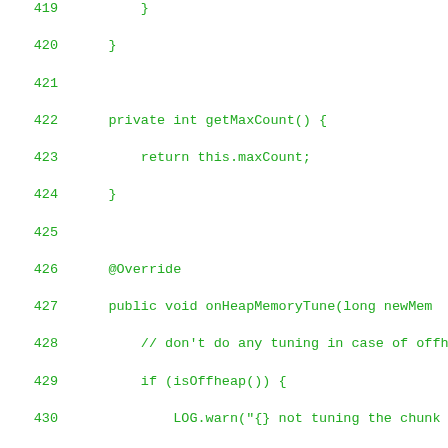[Figure (screenshot): Source code listing showing Java method implementations, lines 419-447, with green monospace text on white background. Shows closing braces, getMaxCount() method, and onHeapMemoryTune() method with conditional logic for chunk pool tuning.]